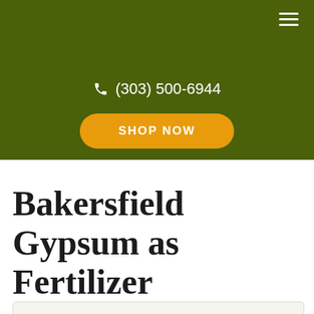☰ (hamburger menu icon)
(303) 500-6944
SHOP NOW
Bakersfield Gypsum as Fertilizer